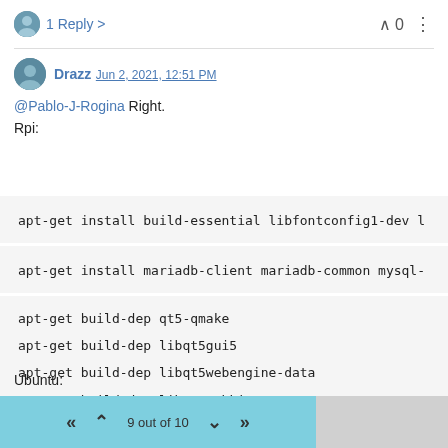1 Reply > | ^ 0 ⋮
Drazz Jun 2, 2021, 12:51 PM
@Pablo-J-Rogina Right.
Rpi:
apt-get install build-essential libfontconfig1-dev l
apt-get install mariadb-client mariadb-common mysql-
apt-get build-dep qt5-qmake
apt-get build-dep libqt5gui5
apt-get build-dep libqt5webengine-data
apt-get build-dep libqt5webkit5
Ubuntu:
« ‹ 9 out of 10 › »